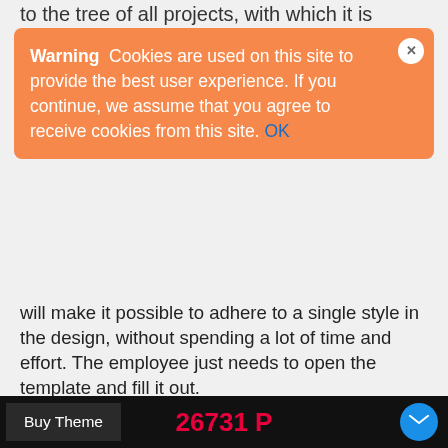to the tree of all projects, with which it is
[Figure (screenshot): Cookie warning overlay banner with orange background. Shows bold 'Warning' label followed by text: 'Cookies are used on this site to provide the best user experience. If you continue, we assume that you agree to receive cookies from this site. OK' with OK as a blue link. Has a white circular close button (x) in the top right corner.]
will make it possible to adhere to a single style in the design, without spending a lot of time and effort. The employee just needs to open the template and fill it out.

Flexible conditions for working with content allow you to run different projects at the same time. For example, your employee designed a new page, you published it and took some action. Option two: you've made changes to a previously created project, updated content, and refreshed the page. You can always retur...
Buy Theme
26731 P